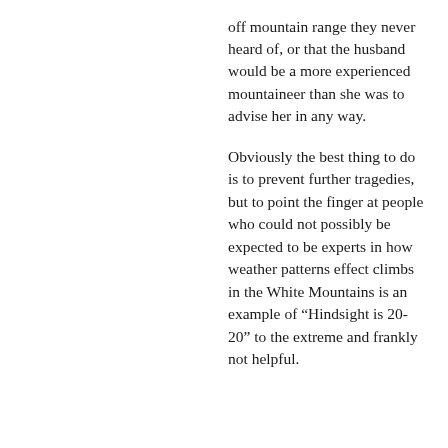off mountain range they never heard of, or that the husband would be a more experienced mountaineer than she was to advise her in any way.

Obviously the best thing to do is to prevent further tragedies, but to point the finger at people who could not possibly be expected to be experts in how weather patterns effect climbs in the White Mountains is an example of “Hindsight is 20-20” to the extreme and frankly not helpful.